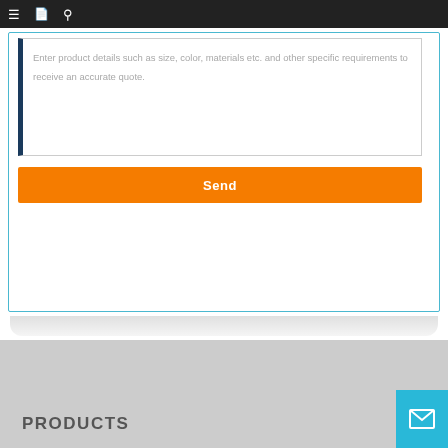Navigation bar with menu, document, and search icons
Enter product details such as size, color, materials etc. and other specific requirements to receive an accurate quote.
Send
PRODUCTS